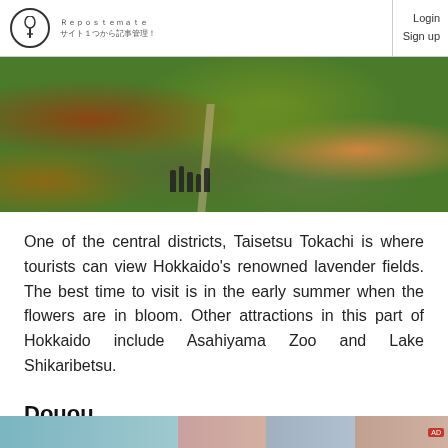Login Sign up
[Figure (photo): Aerial/landscape view of colorful alpine fields with green and orange-red vegetation, a wooden walkway path, and a group of people viewing the scenery in Taisetsu Tokachi, Hokkaido.]
One of the central districts, Taisetsu Tokachi is where tourists can view Hokkaido's renowned lavender fields. The best time to visit is in the early summer when the flowers are in bloom. Other attractions in this part of Hokkaido include Asahiyama Zoo and Lake Shikaribetsu.
Douou
[Figure (photo): Bottom strip of thumbnail images partially visible.]